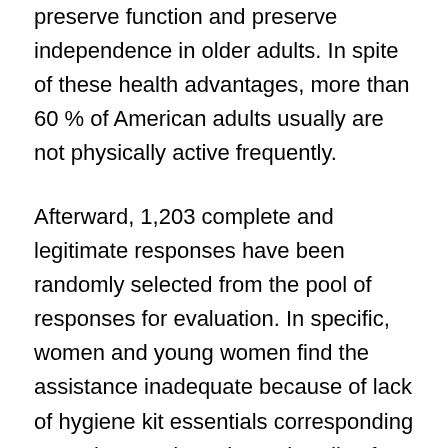preserve function and preserve independence in older adults. In spite of these health advantages, more than 60 % of American adults usually are not physically active frequently.
Afterward, 1,203 complete and legitimate responses have been randomly selected from the pool of responses for evaluation. In specific, women and young women find the assistance inadequate because of lack of hygiene kit essentials corresponding to sanitary pads and merchandise for their sexual and reproductive needs, such as contraceptives. Information on where to entry sexual and reproductive well being services can be missing, so pregnant teenage mothers are struggling in the course of